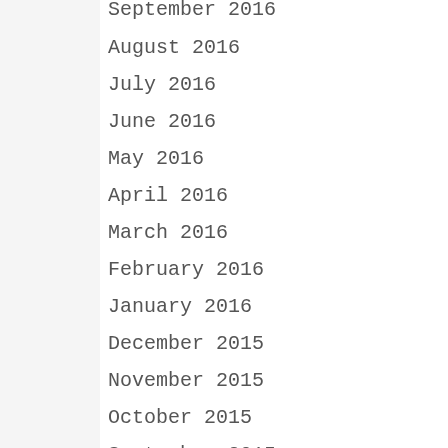September 2016
August 2016
July 2016
June 2016
May 2016
April 2016
March 2016
February 2016
January 2016
December 2015
November 2015
October 2015
September 2015
August 2015
July 2015